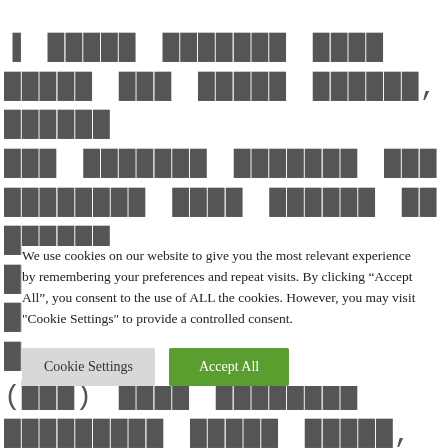[redacted/obscured text block in non-Latin script]
We use cookies on our website to give you the most relevant experience by remembering your preferences and repeat visits. By clicking “Accept All”, you consent to the use of ALL the cookies. However, you may visit "Cookie Settings" to provide a controlled consent.